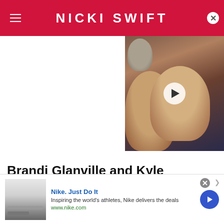NICKI SWIFT
[Figure (photo): Video thumbnail showing two women at an event, with a play button overlay]
Brandi Glanville and Kyle Richards had quite a rocky relationship
[Figure (screenshot): Nike advertisement banner: Nike. Just Do It. Inspiring the world's athletes, Nike delivers the deals. www.nike.com]